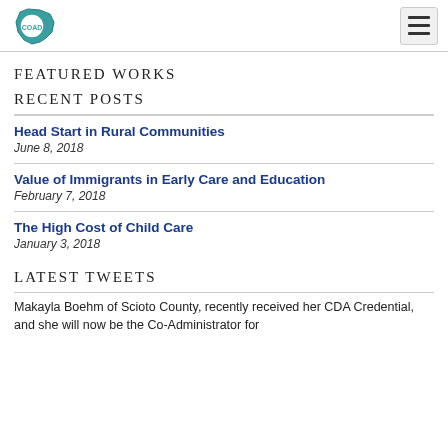COAD
FEATURED WORKS
RECENT POSTS
Head Start in Rural Communities
June 8, 2018
Value of Immigrants in Early Care and Education
February 7, 2018
The High Cost of Child Care
January 3, 2018
LATEST TWEETS
Makayla Boehm of Scioto County, recently received her CDA Credential, and she will now be the Co-Administrator for